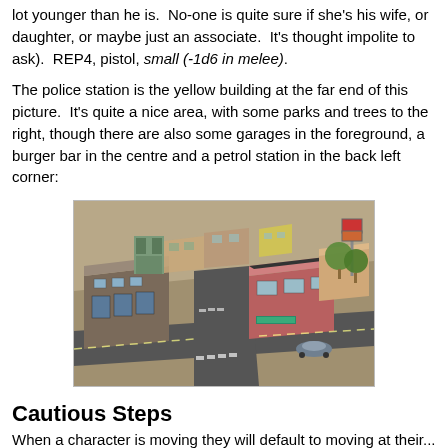lot younger than he is.  No-one is quite sure if she's his wife, or daughter, or maybe just an associate.  It's thought impolite to ask).  REP4, pistol, small (-1d6 in melee).
The police station is the yellow building at the far end of this picture.  It's quite a nice area, with some parks and trees to the right, though there are also some garages in the foreground, a burger bar in the centre and a petrol station in the back left corner:
[Figure (photo): A top-down angled view of a miniature tabletop city scene showing garages, a burger bar, a petrol station with a tall sign, a pink/red building, streets with zebra crossings, and trees in the background.]
Cautious Steps
When a character is moving they will default to moving at their...